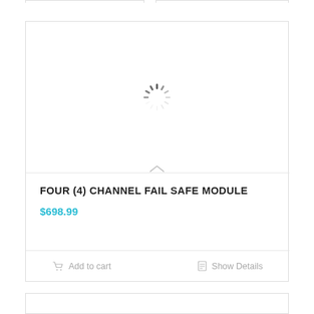[Figure (screenshot): Product listing card showing a loading spinner (circular dashed spinner icon) in the image area, product title 'FOUR (4) CHANNEL FAIL SAFE MODULE', price '$698.99', and action buttons 'Add to cart' and 'Show Details' at the bottom. A partially visible second card appears at the bottom of the page.]
FOUR (4) CHANNEL FAIL SAFE MODULE
$698.99
Add to cart
Show Details